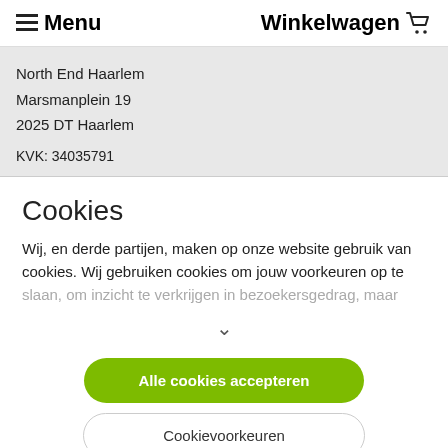≡ Menu   Winkelwagen 🛒
North End Haarlem
Marsmanplein 19
2025 DT Haarlem
KVK: 34035791
Cookies
Wij, en derde partijen, maken op onze website gebruik van cookies. Wij gebruiken cookies om jouw voorkeuren op te slaan, om inzicht te verkrijgen in bezoekersgedrag, maar
Alle cookies accepteren
Cookievoorkeuren